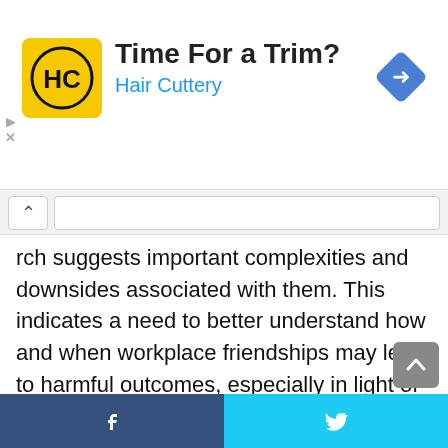[Figure (advertisement): Hair Cuttery ad banner with logo, 'Time For a Trim?' headline, and navigation icon]
rch suggests important complexities and downsides associated with them. This indicates a need to better understand how and when workplace friendships may lead to harmful outcomes, especially in light of organizational and technological shifts that are changing the way employees connect. Drawing on theories of close relationships, social exchange, and boundary management, we present a theoretical framework highlighting how four defining features of friendship (informality, voluntariness, communal
[Figure (infographic): Social share bottom bar with Facebook and Twitter icons]
f  [twitter icon]